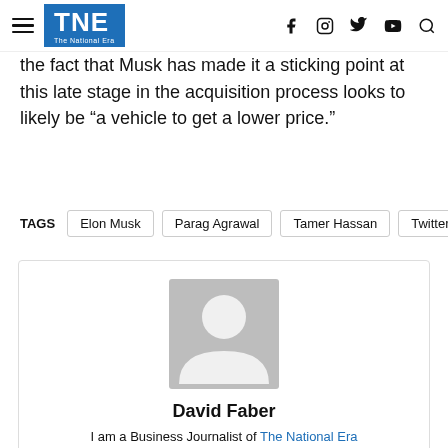TNE The National Era
the fact that Musk has made it a sticking point at this late stage in the acquisition process looks to likely be “a vehicle to get a lower price.”
TAGS  Elon Musk  Parag Agrawal  Tamer Hassan  Twitter
[Figure (illustration): Author profile card with placeholder avatar silhouette. Name: David Faber. Bio: I am a Business Journalist of The National Era]
David Faber
I am a Business Journalist of The National Era